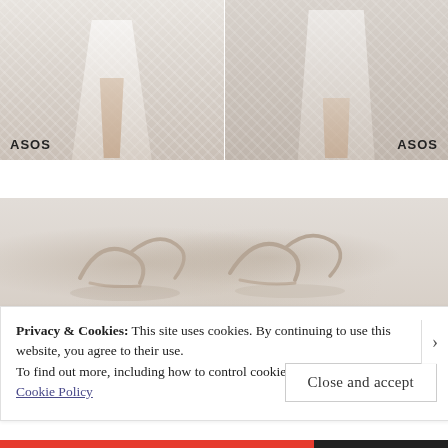[Figure (photo): Two ASOS fashion photos side by side showing women in white lace dresses. Left image shows lower body in a long white lace dress with strappy sandals with ASOS watermark. Right image shows torso and legs in a white lace dress with ASOS watermark.]
[Figure (photo): Close-up photo of strappy sandals/shoes on a light beige surface, partially obscured by the cookie consent overlay.]
Privacy & Cookies: This site uses cookies. By continuing to use this website, you agree to their use.
To find out more, including how to control cookies, see here:
Cookie Policy
Close and accept